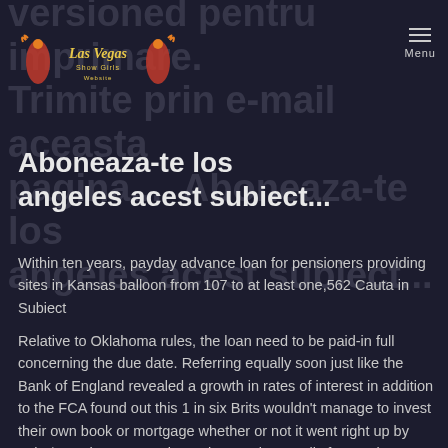versioned pentru imprimare. Trimite prin e-mail aceasta pagina... Aboneaza-te los angeles acest subiect...
[Figure (logo): Las Vegas Show Girls website logo with decorative showgirl figures in orange/red on dark background]
Menu
Aboneaza-te los angeles acest subiect...
Within ten years, payday advance loan for pensioners providing sites in Kansas balloon from 107 to at least one,562 Cauta in Subiect
Relative to Oklahoma rules, the loan need to be paid-in full concerning the due date. Referring equally soon just like the Bank of England revealed a growth in rates of interest in addition to the FCA found out this 1 in six Brits wouldn’t manage to invest their own book or mortgage whether or not it went right up by only $50. The Secure alternatives regimen calls for employers with five or maybe more workforce to make the program ready to accept their employees. Therese minimal rose parish inside the 5800 block of Euclid method